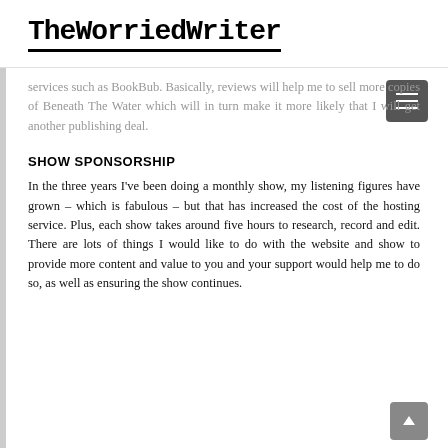TheWorriedWriter
services such as BookBub. Basically, reviews will help me to sell more copies of Beneath The Water which will in turn make it more likely that I will get another publishing deal.
SHOW SPONSORSHIP
In the three years I've been doing a monthly show, my listening figures have grown – which is fabulous – but that has increased the cost of the hosting service. Plus, each show takes around five hours to research, record and edit. There are lots of things I would like to do with the website and show to provide more content and value to you and your support would help me to do so, as well as ensuring the show continues.